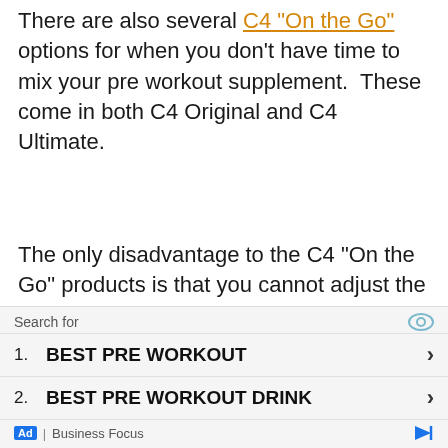There are also several C4 "On the Go" options for when you don't have time to mix your pre workout supplement. These come in both C4 Original and C4 Ultimate.
The only disadvantage to the C4 "On the Go" products is that you cannot adjust the taste or strength like you can in a powder.
C4 Original is the best selling and most popular, mainly because it was the first. Some of the others are C4 Ripped, C4 Extreme, C4 Extreme Energy, C4 Ultimate, and C4 Sport.
[Figure (other): Advertisement overlay: Search bar labeled 'Search for' with an eye icon, two list items '1. BEST PRE WORKOUT' and '2. BEST PRE WORKOUT DRINK' each with a right-arrow chevron, and a footer showing 'Ad | Business Focus' with a play button icon.]